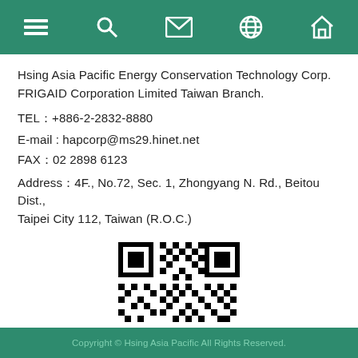Navigation bar with menu, search, mail, globe, and home icons
Hsing Asia Pacific Energy Conservation Technology Corp.
FRIGAID Corporation Limited Taiwan Branch.
TEL：+886-2-2832-8880
E-mail : hapcorp@ms29.hinet.net
FAX：02 2898 6123
Address：4F., No.72, Sec. 1, Zhongyang N. Rd., Beitou Dist., Taipei City 112, Taiwan (R.O.C.)
[Figure (other): QR code for Hsing Asia Pacific company website]
Copyright © Hsing Asia Pacific All Rights Reserved.